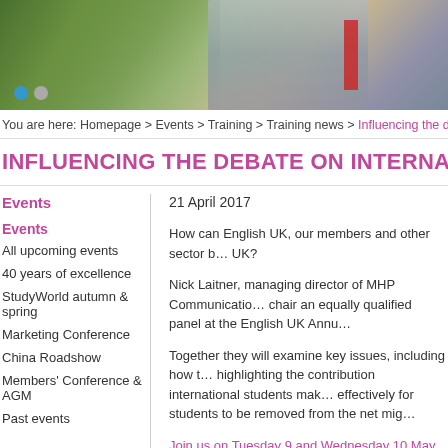[Figure (photo): Photo banner showing people at an event with green foliage in background, with blue and gray navigation dots]
You are here: Homepage > Events > Training > Training news > Influencing the deba
INFLUENCING THE DEBATE ON INTERNA
Events
Events
All upcoming events
40 years of excellence
StudyWorld autumn & spring
Marketing Conference
China Roadshow
Members' Conference & AGM
Past events
21 April 2017
How can English UK, our members and other sector b… UK?
Nick Laitner, managing director of MHP Communicatio… chair an equally qualified panel at the English UK Annu…
Together they will examine key issues, including how to… highlighting the contribution international students mak… effectively for students to be removed from the net mig…
Join us on Tuesday 9 and Wednesday 10 May at the M… members and help shape our future.
Nick led the MHP team on its work for English UK over…